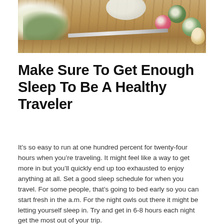[Figure (photo): Overhead photo of a wooden table with white flowers, sliced radishes (green and pink/red), a knife, a plate, and an egg arranged on the surface.]
Make Sure To Get Enough Sleep To Be A Healthy Traveler
It’s so easy to run at one hundred percent for twenty-four hours when you’re traveling. It might feel like a way to get more in but you’ll quickly end up too exhausted to enjoy anything at all. Set a good sleep schedule for when you travel. For some people, that’s going to bed early so you can start fresh in the a.m. For the night owls out there it might be letting yourself sleep in. Try and get in 6-8 hours each night get the most out of your trip.